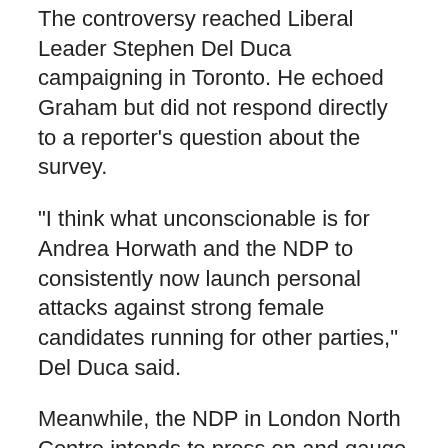The controversy reached Liberal Leader Stephen Del Duca campaigning in Toronto. He echoed Graham but did not respond directly to a reporter's question about the survey.
“I think what unconscionable is for Andrea Horwath and the NDP to consistently now launch personal attacks against strong female candidates running for other parties,” Del Duca said.
Meanwhile, the NDP in London North Centre intends to press on and gauge voter support door-to-door.
“It [the survey] doesn’t represent exactly what we are hearing on the doors,” Kernaghan concluded.